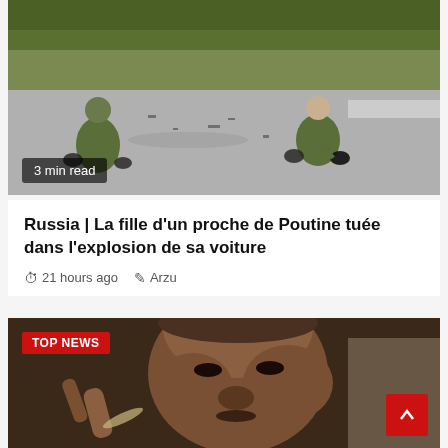[Figure (photo): Two investigators in green military/forensic suits crouching on a road examining debris from an explosion. Trees and greenery visible in background.]
3 min read
Russia | La fille d'un proche de Poutine tuée dans l'explosion de sa voiture
21 hours ago   Arzu
[Figure (photo): Close-up of a man's face with dark skin, looking downward. A 'TOP NEWS' red badge overlays the top-left corner of the image.]